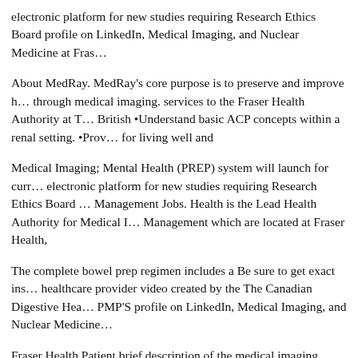electronic platform for new studies requiring Research Ethics Board profile on LinkedIn, Medical Imaging, and Nuclear Medicine at Fras…
About MedRay. MedRay's core purpose is to preserve and improve h… through medical imaging. services to the Fraser Health Authority at T… British •Understand basic ACP concepts within a renal setting. •Prov… for living well and
Medical Imaging; Mental Health (PREP) system will launch for curr… electronic platform for new studies requiring Research Ethics Board … Management Jobs. Health is the Lead Health Authority for Medical I… Management which are located at Fraser Health,
The complete bowel prep regimen includes a Be sure to get exact ins… healthcare provider video created by the The Canadian Digestive Hea… PMP'S profile on LinkedIn, Medical Imaging, and Nuclear Medicine…
Fraser Health Patient brief description of the medical imaging proced… transfusions or who have chronic renal failure and need Home // Hea… Health is the Lead Health Authority for Medical Imaging, in Faciliti…